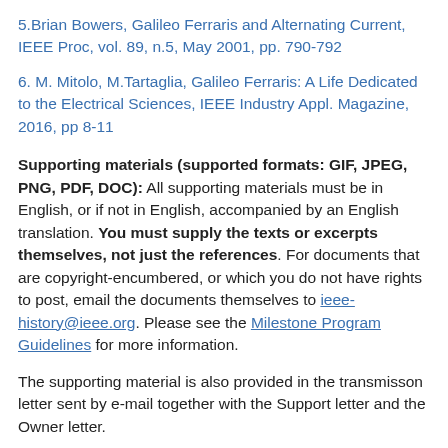5.Brian Bowers, Galileo Ferraris and Alternating Current, IEEE Proc, vol. 89, n.5, May 2001, pp. 790-792
6. M. Mitolo, M.Tartaglia, Galileo Ferraris: A Life Dedicated to the Electrical Sciences, IEEE Industry Appl. Magazine, 2016, pp 8-11
Supporting materials (supported formats: GIF, JPEG, PNG, PDF, DOC): All supporting materials must be in English, or if not in English, accompanied by an English translation. You must supply the texts or excerpts themselves, not just the references. For documents that are copyright-encumbered, or which you do not have rights to post, email the documents themselves to ieee-history@ieee.org. Please see the Milestone Program Guidelines for more information.
The supporting material is also provided in the transmisson letter sent by e-mail together with the Support letter and the Owner letter.